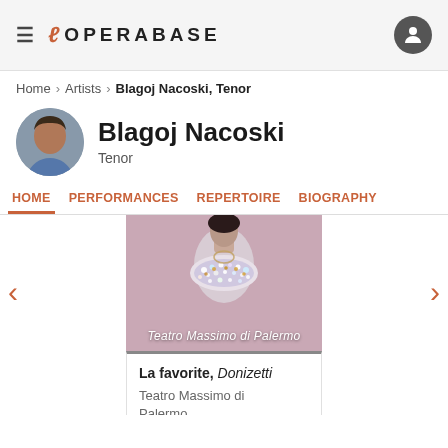OPERABASE
Home > Artists > Blagoj Nacoski, Tenor
Blagoj Nacoski
Tenor
HOME   PERFORMANCES   REPERTOIRE   BIOGRAPHY
[Figure (photo): Artist profile photo of Blagoj Nacoski, a tenor, shown in a circular crop]
[Figure (photo): Opera event poster for La favorite at Teatro Massimo di Palermo showing a figure with rhinestone necklace on pink background]
La favorite, Donizetti
Teatro Massimo di Palermo
Don Gaspard